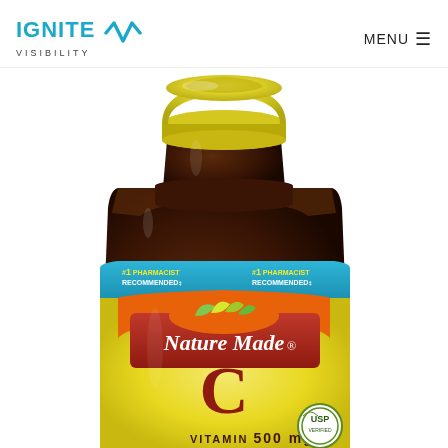IGNITE VISIBILITY | MENU
[Figure (photo): Nature Made Vitamin C 500mg supplement bottle with yellow cap and label, showing #1 Pharmacist Recommended badge and USP seal, photographed from a slightly elevated angle showing the top and front label.]